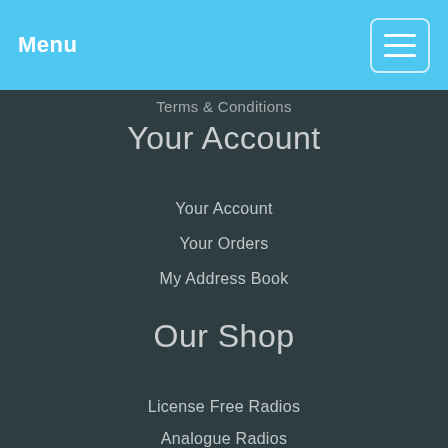Menu
Terms & Conditions
Your Account
Your Account
Your Orders
My Address Book
Our Shop
License Free Radios
Analogue Radios
Digital Radios